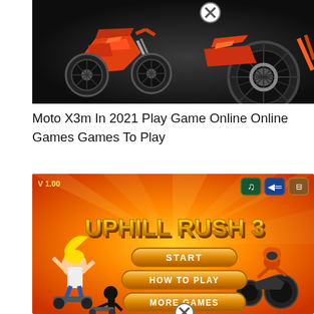[Figure (screenshot): Screenshot of Moto X3m game showing an orange/red motorbike with large wheel on a dark background, with a close (X) button overlay]
Moto X3m In 2021 Play Game Online Online Games Games To Play
[Figure (screenshot): Screenshot of Uphill Rush 3 game title screen showing V 1.00 version, gold 3D title text 'UPHILL RUSH 3', three menu buttons: START, HOW TO PLAY, MORE GAMES, characters on bikes/skateboards on an orange background, with a close (X) button at bottom]